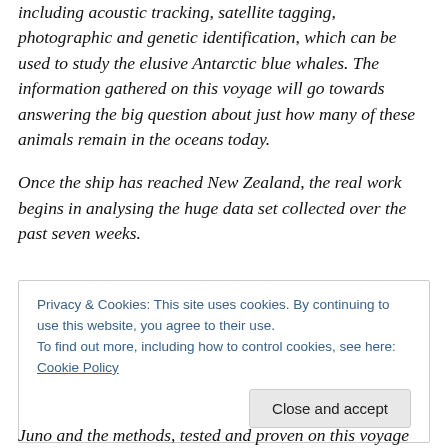including acoustic tracking, satellite tagging, photographic and genetic identification, which can be used to study the elusive Antarctic blue whales. The information gathered on this voyage will go towards answering the big question about just how many of these animals remain in the oceans today.
Once the ship has reached New Zealand, the real work begins in analysing the huge data set collected over the past seven weeks.
Privacy & Cookies: This site uses cookies. By continuing to use this website, you agree to their use.
To find out more, including how to control cookies, see here: Cookie Policy
Close and accept
Juno and the methods, tested and proven on this voyage